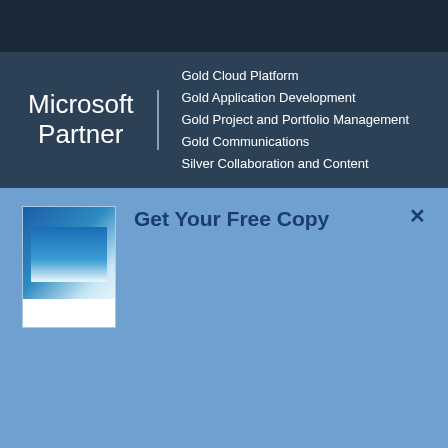[Figure (logo): Microsoft Partner logo with Gold Cloud Platform, Gold Application Development, Gold Project and Portfolio Management, Gold Communications, Silver Collaboration and Content credentials listed]
Get Your Free Copy
Rencore whitepaper "Power Platform governance best practices".
All the guidelines and best practices you need to implement a no-and low-code solution governance strategy.
Download